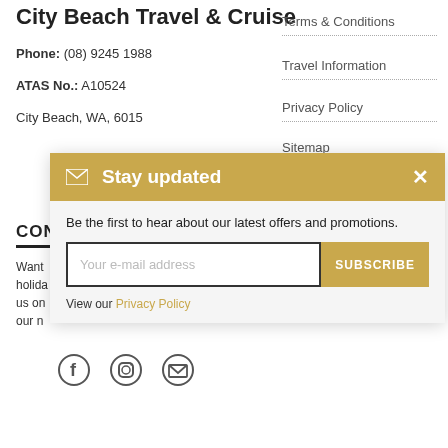City Beach Travel & Cruise
Phone: (08) 9245 1988
ATAS No.: A10524
City Beach, WA, 6015
Terms & Conditions
Travel Information
Privacy Policy
Sitemap
CON
Want ... holida... us on our n...
[Figure (infographic): Stay updated email subscription modal with golden header, email input field, Subscribe button, and Privacy Policy link]
[Figure (infographic): Social media icons: Facebook, Instagram, Email]